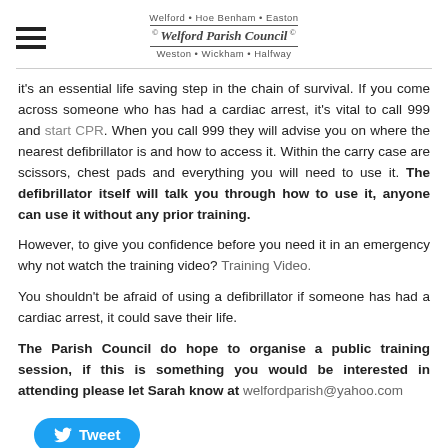Welford • Hoe Benham • Easton | Welford Parish Council | Weston • Wickham • Halfway
it's an essential life saving step in the chain of survival. If you come across someone who has had a cardiac arrest, it's vital to call 999 and start CPR. When you call 999 they will advise you on where the nearest defibrillator is and how to access it. Within the carry case are scissors, chest pads and everything you will need to use it. The defibrillator itself will talk you through how to use it, anyone can use it without any prior training.
However, to give you confidence before you need it in an emergency why not watch the training video? Training Video.
You shouldn't be afraid of using a defibrillator if someone has had a cardiac arrest, it could save their life.
The Parish Council do hope to organise a public training session, if this is something you would be interested in attending please let Sarah know at welfordparish@yahoo.com